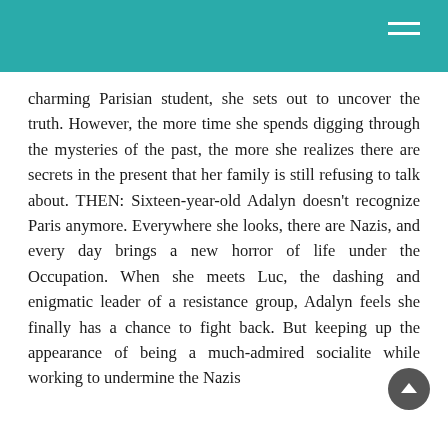charming Parisian student, she sets out to uncover the truth. However, the more time she spends digging through the mysteries of the past, the more she realizes there are secrets in the present that her family is still refusing to talk about. THEN: Sixteen-year-old Adalyn doesn't recognize Paris anymore. Everywhere she looks, there are Nazis, and every day brings a new horror of life under the Occupation. When she meets Luc, the dashing and enigmatic leader of a resistance group, Adalyn feels she finally has a chance to fight back. But keeping up the appearance of being a much-admired socialite while working to undermine the Nazis